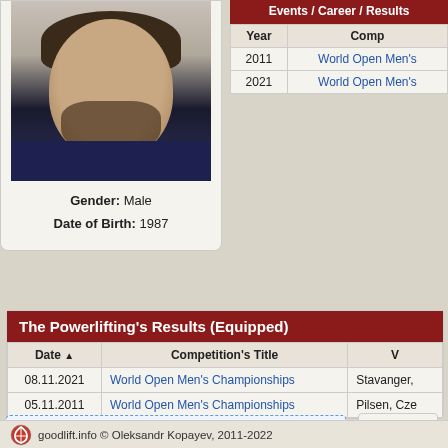[Figure (photo): Portrait photo of a man with dark hair and beard wearing a dark shirt]
Gender: Male
Date of Birth: 1987
| Year | Comp |
| --- | --- |
| 2011 | World Open Men's |
| 2021 | World Open Men's |
The Powerlifting's Results (Equipped)
| Date | Competition's Title | V |
| --- | --- | --- |
| 08.11.2021 | World Open Men's Championships | Stavanger, |
| 05.11.2011 | World Open Men's Championships | Pilsen, Cze |
Attention. On this page shown only an information which is fetch from the GOODLIFT database.
It is not a complete information about lifter, but it will regularly add and improve.
goodlift.info © Oleksandr Kopayev, 2011-2022